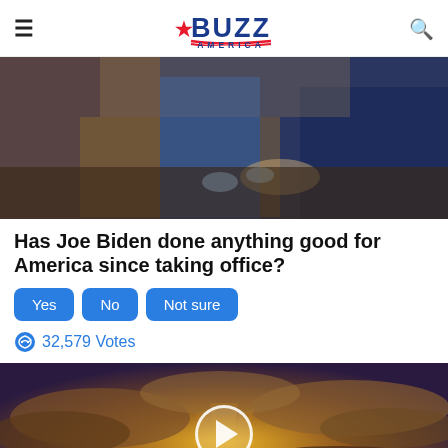BUZZ AMERICA
[Figure (photo): A photo of Joe Biden shaking hands at what appears to be a congressional event. People in formal wear including a figure in a blue suit and Biden in a navy suit are visible near a podium.]
Has Joe Biden done anything good for America since taking office?
Yes   No   Not sure
32,579 Votes
[Figure (photo): A video thumbnail showing a dramatic sky with golden clouds and sun rays, with a circular play button overlay in the center.]